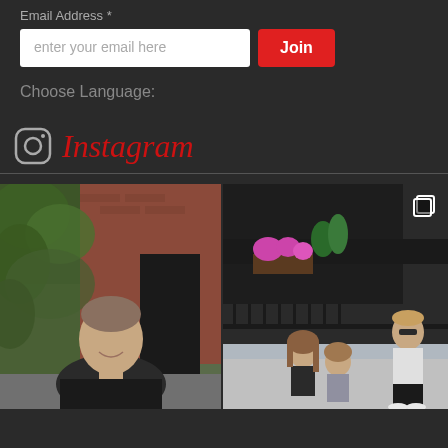Email Address *
enter your email here
Join
Choose Language:
[Figure (logo): Instagram logo with icon and script text]
[Figure (photo): Two photos side by side: left shows a smiling middle-aged man in dark t-shirt in front of ivy-covered brick building; right shows a woman with two children on a sidewalk outside a restaurant with flower planters]